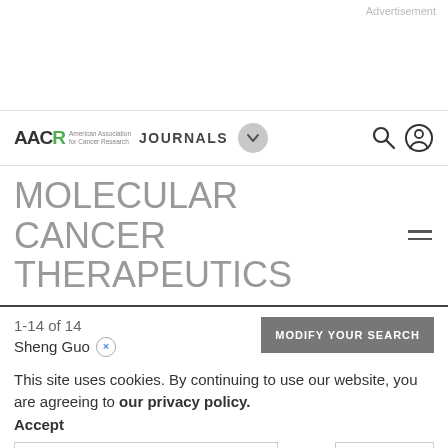Advertisement
[Figure (logo): AACR American Association for Cancer Research JOURNALS logo with dropdown button and search/user icons]
MOLECULAR CANCER THERAPEUTICS
1-14 of 14
Sheng Guo ×
MODIFY YOUR SEARCH
This site uses cookies. By continuing to use our website, you are agreeing to our privacy policy. Accept
Search   Sort by   Relevancy